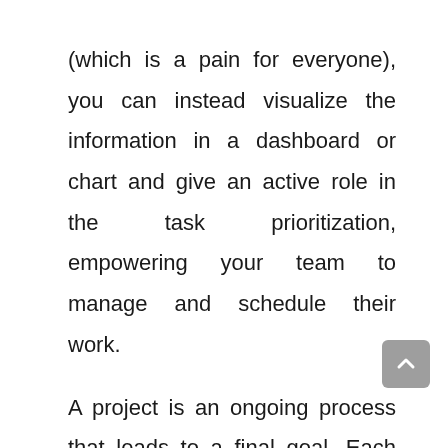(which is a pain for everyone), you can instead visualize the information in a dashboard or chart and give an active role in the task prioritization, empowering your team to manage and schedule their work.
A project is an ongoing process that leads to a final goal. Each step along the road to the finish line marks progress. The progress provides motivation, satisfies stakeholders, and keeps you in the right direction for every stage of the process – even the most difficult ones. Certain charts and tools will tell you